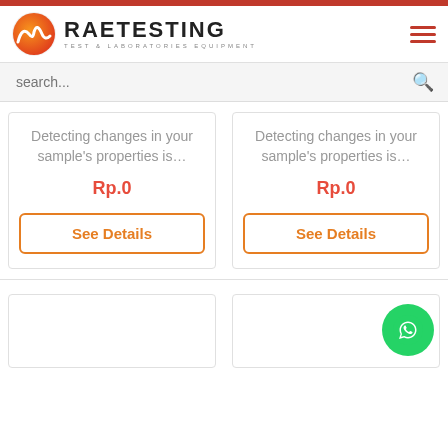[Figure (logo): RAE Testing logo with orange mountain wave graphic and text RAETESTING - TEST & LABORATORIES EQUIPMENT]
search...
Detecting changes in your sample's properties is...
Rp.0
See Details
Detecting changes in your sample's properties is...
Rp.0
See Details